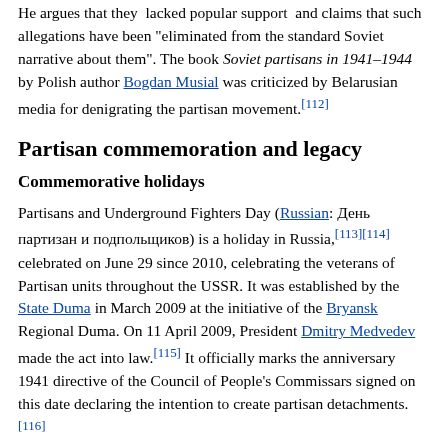He argues that they 'lacked popular support' and claims that such allegations have been "eliminated from the standard Soviet narrative about them". The book Soviet partisans in 1941–1944 by Polish author Bogdan Musial was criticized by Belarusian media for denigrating the partisan movement.[112]
Partisan commemoration and legacy
Commemorative holidays
Partisans and Underground Fighters Day (Russian: День партизан и подпольщиков) is a holiday in Russia,[113][114] celebrated on June 29 since 2010, celebrating the veterans of Partisan units throughout the USSR. It was established by the State Duma in March 2009 at the initiative of the Bryansk Regional Duma. On 11 April 2009, President Dmitry Medvedev made the act into law.[115] It officially marks the anniversary 1941 directive of the Council of People's Commissars signed on this date declaring the intention to create partisan detachments.[116]
The Day of Partisan Glory (Ukrainian: День партизанської слави) is celebrated in Ukraine on 22 September,[117][118] first appearing on the Ukrainian calendar in October 2001 after an order came